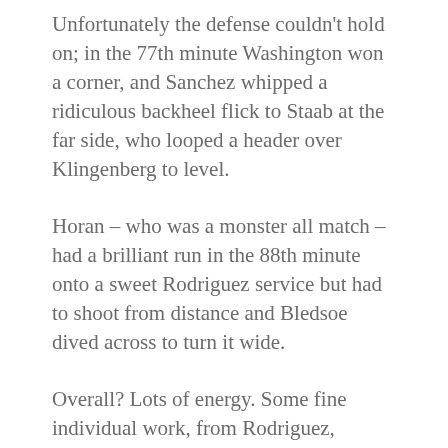Unfortunately the defense couldn't hold on; in the 77th minute Washington won a corner, and Sanchez whipped a ridiculous backheel flick to Staab at the far side, who looped a header over Klingenberg to level.
Horan – who was a monster all match – had a brilliant run in the 88th minute onto a sweet Rodriguez service but had to shoot from distance and Bledsoe dived across to turn it wide.
Overall? Lots of energy. Some fine individual work, from Rodriguez, Horan, Bixby in particular. But the end result was a bit of a disappointment. The missed opportunities in the first half – as missed opportunities often do – came back to bite Portland in the ass.